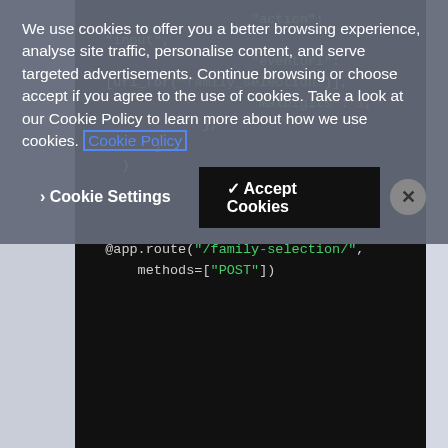[Figure (screenshot): Dark-themed code editor showing Python/template code with green and pink syntax highlighting. Visible lines include 'action': 'input', 'eventUrl': [url_for("family_selection")], 'maxDigits': 1, }, ] ) @app.route("/family-selection/", methods=["POST"])]
We use cookies to offer you a better browsing experience, analyse site traffic, personalise content, and serve targeted advertisements. Continue browsing or choose accept if you agree to the use of cookies. Take a look at our Cookie Policy to learn more about how we use cookies. Cookie Policy
> Cookie Settings  ✓ Accept Cookies  ✕